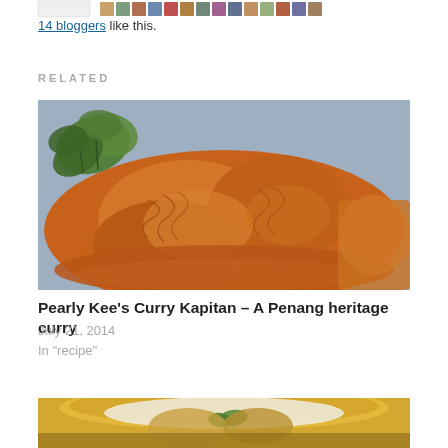14 bloggers like this.
RELATED
[Figure (photo): Close-up photo of curry chicken pieces coated in rich orange-brown curry sauce with fresh coriander leaves in the background]
Pearly Kee's Curry Kapitan – A Penang heritage curry
July 21, 2014
In "recipe"
[Figure (photo): Partial photo of a dish with yellow curry and green herbs visible at the bottom of the page]